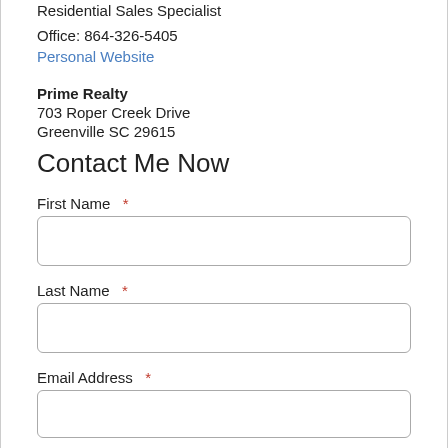Residential Sales Specialist
Office: 864-326-5405
Personal Website
Prime Realty
703 Roper Creek Drive
Greenville SC 29615
Contact Me Now
First Name *
Last Name *
Email Address *